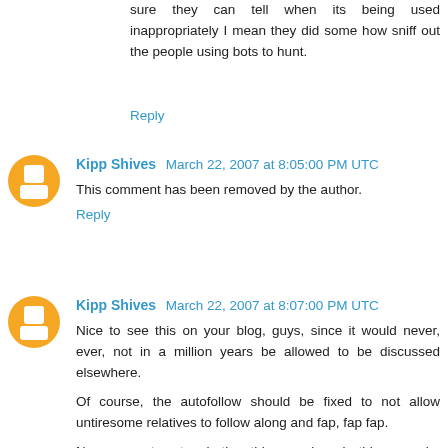sure they can tell when its being used inappropriately I mean they did some how sniff out the people using bots to hunt.
Reply
Kipp Shives  March 22, 2007 at 8:05:00 PM UTC
This comment has been removed by the author.
Reply
Kipp Shives  March 22, 2007 at 8:07:00 PM UTC
Nice to see this on your blog, guys, since it would never, ever, not in a million years be allowed to be discussed elsewhere.
Of course, the autofollow should be fixed to not allow untiresome relatives to follow along and fap, fap fap.
No comment as to whether this was done in this example, but if it were, no player should be exempt from a lock down